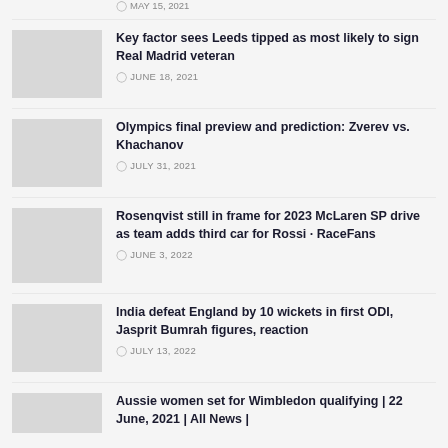MAY 15, 2021
[Figure (photo): Thumbnail image placeholder]
Key factor sees Leeds tipped as most likely to sign Real Madrid veteran
JUNE 18, 2021
[Figure (photo): Thumbnail image placeholder]
Olympics final preview and prediction: Zverev vs. Khachanov
JULY 31, 2021
[Figure (photo): Thumbnail image placeholder]
Rosenqvist still in frame for 2023 McLaren SP drive as team adds third car for Rossi · RaceFans
JUNE 3, 2022
[Figure (photo): Thumbnail image placeholder]
India defeat England by 10 wickets in first ODI, Jasprit Bumrah figures, reaction
JULY 13, 2022
[Figure (photo): Thumbnail image placeholder]
Aussie women set for Wimbledon qualifying | 22 June, 2021 | All News |